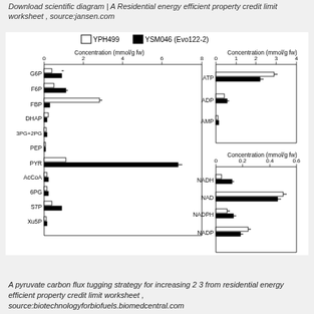Download scientific diagram | A Residential energy efficient property credit limit worksheet , source:jansen.com
[Figure (grouped-bar-chart): Four grouped horizontal bar charts showing metabolite concentrations. Left chart shows glycolytic intermediates (mmol/g fw, x-axis 0-8). Top-right chart shows adenylates ATP, ADP, AMP (mmol/g fw, x-axis 0-4). Bottom-right charts show NADH/NAD and NADPH/NADP (mmol/g fw, x-axis 0-0.6).]
A pyruvate carbon flux tugging strategy for increasing 2 3 from residential energy efficient property credit limit worksheet , source:biotechnologyforbiofuels.biomedcentral.com